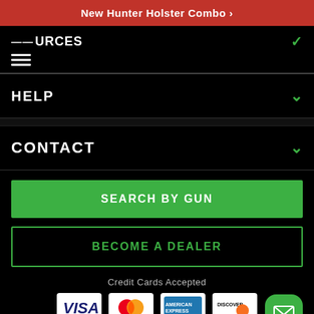New Hunter Holster Combo ›
RESOURCES
HELP
CONTACT
SEARCH BY GUN
BECOME A DEALER
Credit Cards Accepted
[Figure (screenshot): Credit card logos: VISA, Mastercard, American Express, Discover, and a green email/contact button]